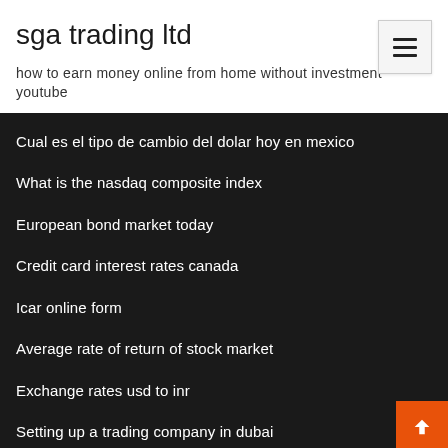sga trading ltd
how to earn money online from home without investment youtube
Cual es el tipo de cambio del dolar hoy en mexico
What is the nasdaq composite index
European bond market today
Credit card interest rates canada
Icar online form
Average rate of return of stock market
Exchange rates usd to inr
Setting up a trading company in dubai